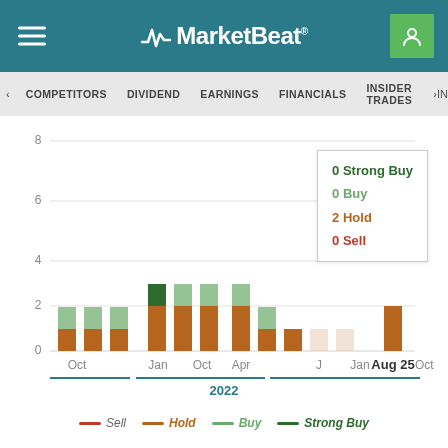MarketBeat
COMPETITORS  DIVIDEND  EARNINGS  FINANCIALS  INSIDER TRADES
[Figure (stacked-bar-chart): Analyst Ratings Over Time]
2022
Sell  Hold  Buy  Strong Buy